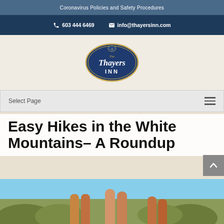Coronavirus Policies and Safety Procedures
603 444 6469   info@thayersinn.com
[Figure (logo): Thayers Inn oval blue logo with cursive script text]
Select Page
Easy Hikes in the White Mountains– A Roundup
[Figure (photo): Close-up photo of hikers' legs and boots walking on a dirt trail with vegetation in background]